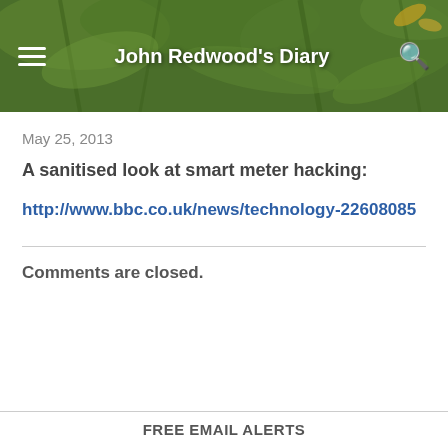John Redwood's Diary
May 25, 2013
A sanitised look at smart meter hacking:
http://www.bbc.co.uk/news/technology-22608085
Comments are closed.
FREE EMAIL ALERTS